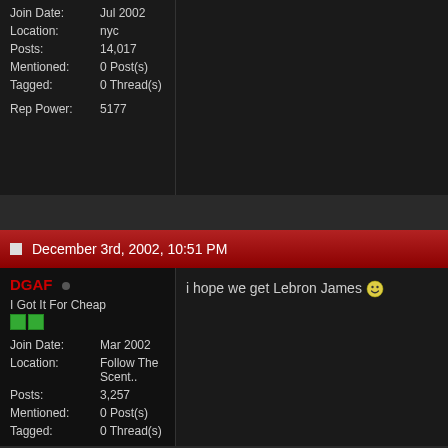| Join Date: | Jul 2002 |
| Location: | nyc |
| Posts: | 14,017 |
| Mentioned: | 0 Post(s) |
| Tagged: | 0 Thread(s) |
| Rep Power: | 5177 |
December 3rd, 2002, 10:51 PM
DGAF
I Got It For Cheap
| Join Date: | Mar 2002 |
| Location: | Follow The Scent.. |
| Posts: | 3,257 |
| Mentioned: | 0 Post(s) |
| Tagged: | 0 Thread(s) |
| Rep Power: | 59 |
i hope we get Lebron James 🙂